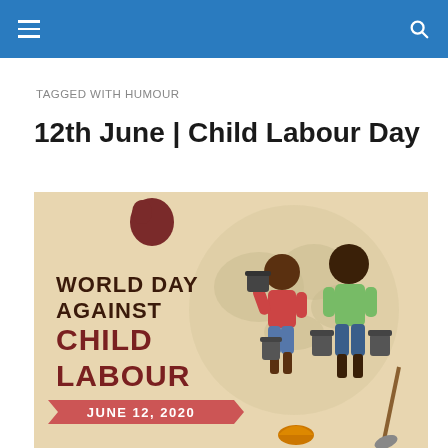Navigation bar with menu and search icons
TAGGED WITH HUMOUR
12th June | Child Labour Day
[Figure (illustration): World Day Against Child Labour illustration showing two children carrying buckets against a world map background, with text 'WORLD DAY AGAINST CHILD LABOUR JUNE 12, 2020' on a beige background with a red banner.]